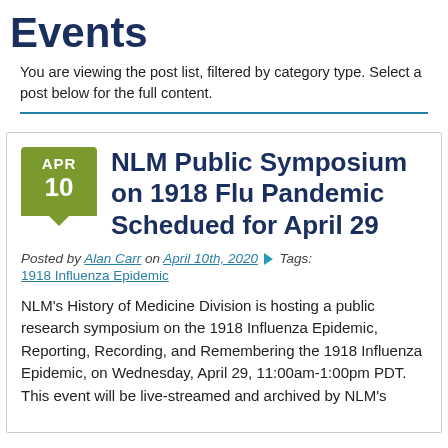Events
You are viewing the post list, filtered by category type. Select a post below for the full content.
NLM Public Symposium on 1918 Flu Pandemic Schedued for April 29
Posted by Alan Carr on April 10th, 2020 ▶ Tags: 1918 Influenza Epidemic
NLM's History of Medicine Division is hosting a public research symposium on the 1918 Influenza Epidemic, Reporting, Recording, and Remembering the 1918 Influenza Epidemic, on Wednesday, April 29, 11:00am-1:00pm PDT. This event will be live-streamed and archived by NLM's...